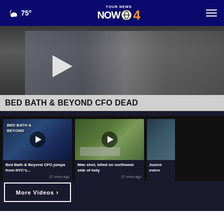75° | YOUR NEWS NOW CBS 4
[Figure (screenshot): Hero video thumbnail of building exterior with play button and banner text 'BED BATH & BEYOND CFO DEAD']
BED BATH & BEYOND CFO DEAD
[Figure (screenshot): Video thumbnail of Bed Bath & Beyond store sign with play button]
Bed Bath & Beyond CFO jumps from NYC's...
27 mins ago
[Figure (screenshot): Video thumbnail of street scene with car and play button]
Man shot, killed on northwest side of Indy
27 mins ago
[Figure (screenshot): Partially visible third video thumbnail]
Juveni overn
More Videos ›